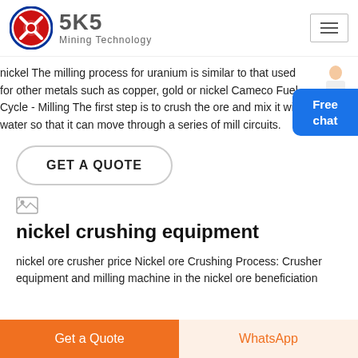[Figure (logo): SKS Mining Technology logo with red/blue circular emblem and grey text]
nickel The milling process for uranium is similar to that used for other metals such as copper, gold or nickel Cameco Fuel Cycle - Milling The first step is to crush the ore and mix it with water so that it can move through a series of mill circuits.
GET A QUOTE
[Figure (illustration): Small broken image icon]
nickel crushing equipment
nickel ore crusher price Nickel ore Crushing Process: Crusher equipment and milling machine in the nickel ore beneficiation
Get a Quote   WhatsApp